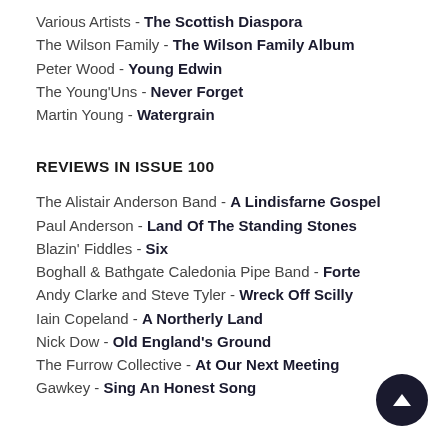Various Artists - The Scottish Diaspora
The Wilson Family - The Wilson Family Album
Peter Wood - Young Edwin
The Young'Uns - Never Forget
Martin Young - Watergrain
REVIEWS IN ISSUE 100
The Alistair Anderson Band - A Lindisfarne Gospel
Paul Anderson - Land Of The Standing Stones
Blazin' Fiddles - Six
Boghall & Bathgate Caledonia Pipe Band - Forte
Andy Clarke and Steve Tyler - Wreck Off Scilly
Iain Copeland - A Northerly Land
Nick Dow - Old England's Ground
The Furrow Collective - At Our Next Meeting
Gawkey - Sing An Honest Song